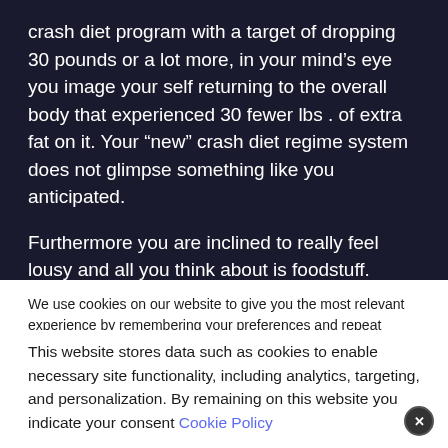crash diet program with a target of dropping 30 pounds or a lot more, in your mind’s eye you image your self returning to the overall body that experienced 30 fewer lbs . of extra fat on it. Your “new” crash diet regime system does not glimpse something like you anticipated.
Furthermore you are inclined to really feel lousy and all you think about is foodstuff.
You may well like: Ouch, my back! Try these 3 tips
We use cookies on our website to give you the most relevant experience by remembering your preferences and repeat visits. By clicking “Accept All”, you consent to the use of ALL the cookies. However, you may visit “Cookie Settings” to provide a controlled consent.
This website stores data such as cookies to enable necessary site functionality, including analytics, targeting, and personalization. By remaining on this website you indicate your consent Cookie Policy